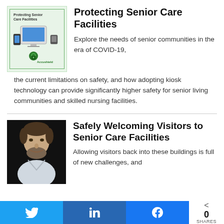[Figure (illustration): Thumbnail image of 'Protecting Senior Care Facilities' booklet cover with security devices]
Protecting Senior Care Facilities
Explore the needs of senior communities in the era of COVID-19, the current limitations on safety, and how adopting kiosk technology can provide significantly higher safety for senior living communities and skilled nursing facilities.
[Figure (photo): Headshot of a man with dark hair and beard against black background]
Safely Welcoming Visitors to Senior Care Facilities
Allowing visitors back into these buildings is full of new challenges, and